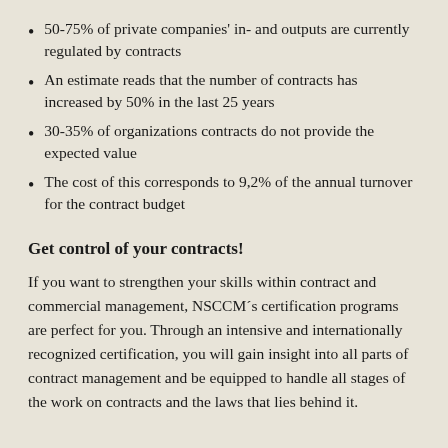50-75% of private companies' in- and outputs are currently regulated by contracts
An estimate reads that the number of contracts has increased by 50% in the last 25 years
30-35% of organizations contracts do not provide the expected value
The cost of this corresponds to 9,2% of the annual turnover for the contract budget
Get control of your contracts!
If you want to strengthen your skills within contract and commercial management, NSCCM´s certification programs are perfect for you. Through an intensive and internationally recognized certification, you will gain insight into all parts of contract management and be equipped to handle all stages of the work on contracts and the laws that lies behind it.